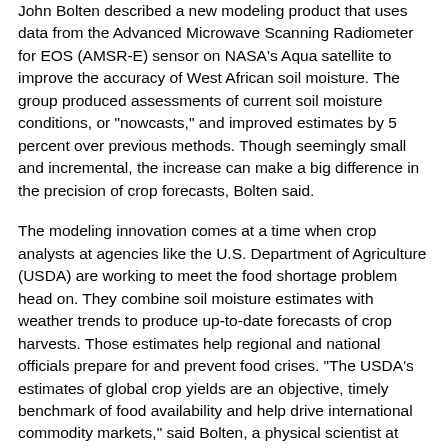John Bolten described a new modeling product that uses data from the Advanced Microwave Scanning Radiometer for EOS (AMSR-E) sensor on NASA's Aqua satellite to improve the accuracy of West African soil moisture. The group produced assessments of current soil moisture conditions, or "nowcasts," and improved estimates by 5 percent over previous methods. Though seemingly small and incremental, the increase can make a big difference in the precision of crop forecasts, Bolten said.
The modeling innovation comes at a time when crop analysts at agencies like the U.S. Department of Agriculture (USDA) are working to meet the food shortage problem head on. They combine soil moisture estimates with weather trends to produce up-to-date forecasts of crop harvests. Those estimates help regional and national officials prepare for and prevent food crises. "The USDA's estimates of global crop yields are an objective, timely benchmark of food availability and help drive international commodity markets," said Bolten, a physical scientist at NASA's Goddard Space Flight Center, Greenbelt, Md. "But crop estimates are only as good as the observations available to drive the models."...